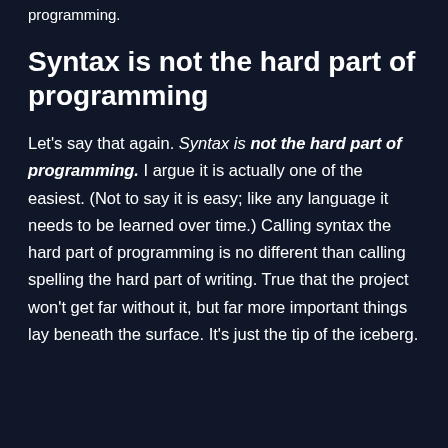programming.
Syntax is not the hard part of programming
Let's say that again. Syntax is not the hard part of programming. I argue it is actually one of the easiest. (Not to say it is easy; like any language it needs to be learned over time.) Calling syntax the hard part of programming is no different than calling spelling the hard part of writing. True that the project won't get far without it, but far more important things lay beneath the surface. It's just the tip of the iceberg.